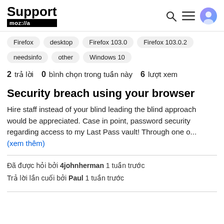Support mozilla://a
Firefox  desktop  Firefox 103.0  Firefox 103.0.2  needsinfo  other  Windows 10
2 trả lời  0 bình chọn trong tuần này  6 lượt xem
Security breach using your browser
Hire staff instead of your blind leading the blind approach would be appreciated. Case in point, password security regarding access to my Last Pass vault! Through one o... (xem thêm)
Đã được hỏi bởi 4johnherman 1 tuần trước
Trả lời lần cuối bởi Paul 1 tuần trước